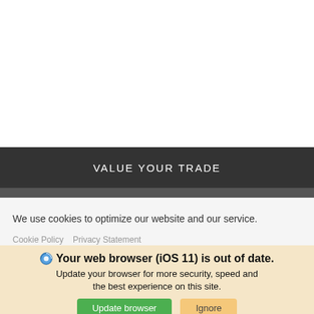[Figure (screenshot): White empty area at top of page]
VALUE YOUR TRADE
[Figure (screenshot): Dark gray strip below value your trade bar]
We use cookies to optimize our website and our service.
Cookie Policy   Privacy Statement
Your web browser (iOS 11) is out of date. Update your browser for more security, speed and the best experience on this site.
Update browser   Ignore